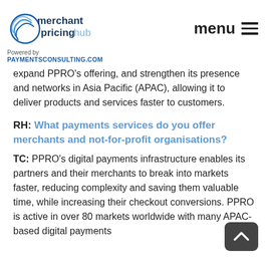merchant pricing hub | Powered by PAYMENTSCONSULTING.COM | menu
expand PPRO's offering, and strengthen its presence and networks in Asia Pacific (APAC), allowing it to deliver products and services faster to customers.
RH: What payments services do you offer merchants and not-for-profit organisations?
TC: PPRO's digital payments infrastructure enables its partners and their merchants to break into markets faster, reducing complexity and saving them valuable time, while increasing their checkout conversions. PPRO is active in over 80 markets worldwide with many APAC-based digital payments